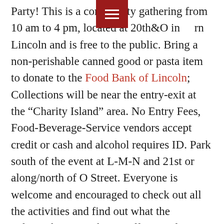[Figure (other): Dark red hamburger menu button overlay in the top center of the page]
Party! This is a community gathering from 10 am to 4 pm, located at 20th&O in downtown Lincoln and is free to the public. Bring a non-perishable canned good or pasta item to donate to the Food Bank of Lincoln; Collections will be near the entry-exit at the "Charity Island" area. No Entry Fees, Food-Beverage-Service vendors accept credit or cash and alcohol requires ID. Park south of the event at L-M-N and 21st or along/north of O Street. Everyone is welcome and encouraged to check out all the activities and find out what the Telegraph District has to offer. Food, Drinks, Music, Games, Prizes, Local Business Vendors & Organizations, Large Equipment Displays, Inflatables (Bounce House & Bounce Obstacle Course by Party Inflators) and info from Speedway Properties' table (Telegraph Lofts West is under